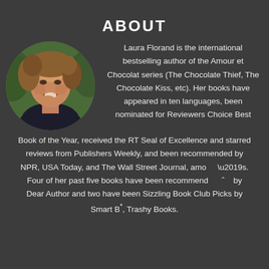ABOUT
[Figure (photo): Circular portrait photo of Laura Florand, a woman with curly hair smiling, with green foliage in background]
Laura Florand is the international bestselling author of the Amour et Chocolat series (The Chocolate Thief, The Chocolate Kiss, etc). Her books have appeared in ten languages, been nominated for Reviewers Choice Best Book of the Year, received the RT Seal of Excellence and starred reviews from Publishers Weekly, and been recommended by NPR, USA Today, and The Wall Street Journal, amo ’s. Four of her past five books have been recommend ˆ by Dear Author and two have been Sizzling Book Club Picks by Smart B*, Trashy Books.